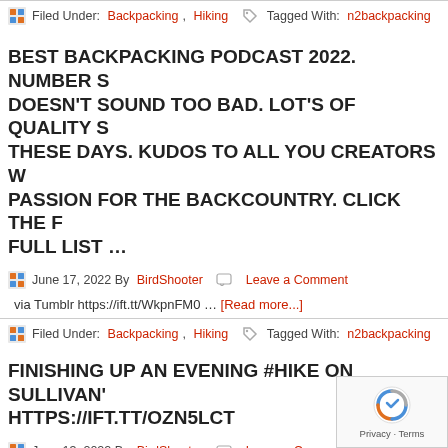Filed Under: Backpacking, Hiking  Tagged With: n2backpacking
BEST BACKPACKING PODCAST 2022. NUMBER S DOESN'T SOUND TOO BAD. LOT'S OF QUALITY S THESE DAYS. KUDOS TO ALL YOU CREATORS W PASSION FOR THE BACKCOUNTRY. CLICK THE F FULL LIST …
June 17, 2022 By BirdShooter  Leave a Comment
via Tumblr https://ift.tt/WkpnFM0 … [Read more...]
Filed Under: Backpacking, Hiking  Tagged With: n2backpacking
FINISHING UP AN EVENING #HIKE ON SULLIVAN' HTTPS://IFT.TT/OZN5LCT
June 13, 2022 By BirdShooter  Leave a Comment
via Tumblr https://ift.tt/IqCnwVA … [Read more...]
Filed Under: Backpacking, Hiking  Tagged With: n2backpa